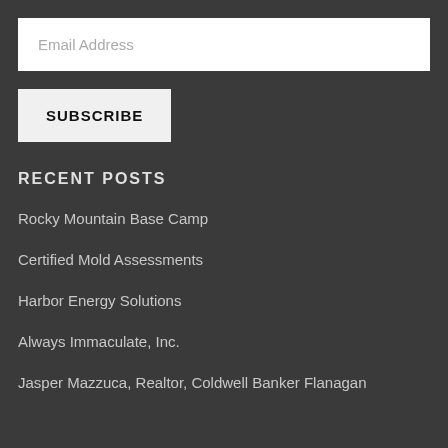Email Address
SUBSCRIBE
RECENT POSTS
Rocky Mountain Base Camp
Certified Mold Assessments
Harbor Energy Solutions
Always Immaculate, Inc.
Jasper Mazzuca, Realtor, Coldwell Banker Flanagan